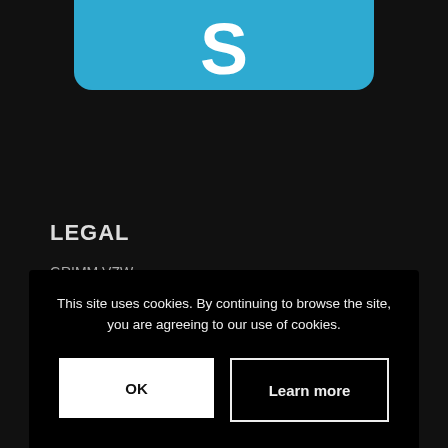[Figure (logo): Blue rounded rectangle with white letter S, partially cropped at top of page]
LEGAL
GRIMM VZW
Driebeekstraat 4
9050 Gentbrugge
RPR Gent BE 0713 477 362
This site uses cookies. By continuing to browse the site, you are agreeing to our use of cookies.
OK
Learn more